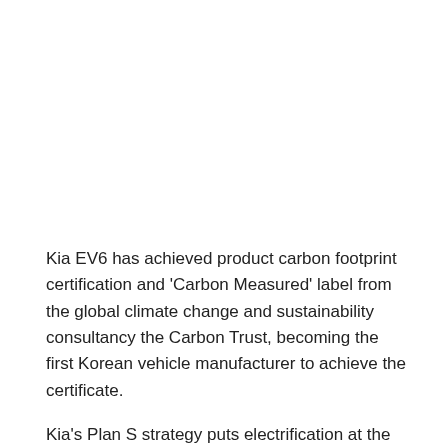Kia EV6 has achieved product carbon footprint certification and 'Carbon Measured' label from the global climate change and sustainability consultancy the Carbon Trust, becoming the first Korean vehicle manufacturer to achieve the certificate.
Kia's Plan S strategy puts electrification at the forefront of the company's future and sets the foundations for a full product